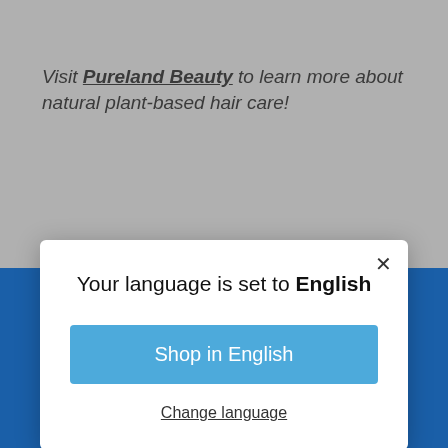Visit Pureland Beauty to learn more about natural plant-based hair care!
[Figure (screenshot): Language selection modal dialog overlaid on a website. Modal contains title 'Your language is set to English', a blue 'Shop in English' button, and a 'Change language' link. Background shows grey website area with italic text and blue promotional banner.]
Your language is set to English
Shop in English
Change language
Sign up
No, thanks